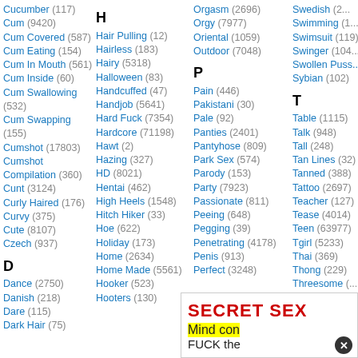Cucumber (117)
Cum (9420)
Cum Covered (587)
Cum Eating (154)
Cum In Mouth (561)
Cum Inside (60)
Cum Swallowing (532)
Cum Swapping (155)
Cumshot (17803)
Cumshot Compilation (360)
Cunt (3124)
Curly Haired (176)
Curvy (375)
Cute (8107)
Czech (937)
D
Dance (2750)
Danish (218)
Dare (115)
Dark Hair (75)
H
Hair Pulling (12)
Hairless (183)
Hairy (5318)
Halloween (83)
Handcuffed (47)
Handjob (5641)
Hard Fuck (7354)
Hardcore (71198)
Hawt (2)
Hazing (327)
HD (8021)
Hentai (462)
High Heels (1548)
Hitch Hiker (33)
Hoe (622)
Holiday (173)
Home (2634)
Home Made (5561)
Hooker (523)
Hooters (130)
Orgasm (2696)
Orgy (7977)
Oriental (1059)
Outdoor (7048)
P
Pain (446)
Pakistani (30)
Pale (92)
Panties (2401)
Pantyhose (809)
Park Sex (574)
Parody (153)
Party (7923)
Passionate (811)
Peeing (648)
Pegging (39)
Penetrating (4178)
Penis (913)
Perfect (3248)
Swedish (...)
Swimming (...)
Swimsuit (119)
Swinger (104)
Swollen Puss...
Sybian (102)
T
Table (1115)
Talk (948)
Tall (248)
Tan Lines (32)
Tanned (388)
Tattoo (2697)
Teacher (127)
Tease (4014)
Teen (63977)
Tgirl (5233)
Thai (369)
Thong (229)
Threesome (...)
[Figure (other): Advertisement banner partially visible at bottom right]